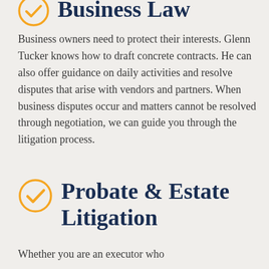Business Law
Business owners need to protect their interests. Glenn Tucker knows how to draft concrete contracts. He can also offer guidance on daily activities and resolve disputes that arise with vendors and partners. When business disputes occur and matters cannot be resolved through negotiation, we can guide you through the litigation process.
Probate & Estate Litigation
Whether you are an executor who